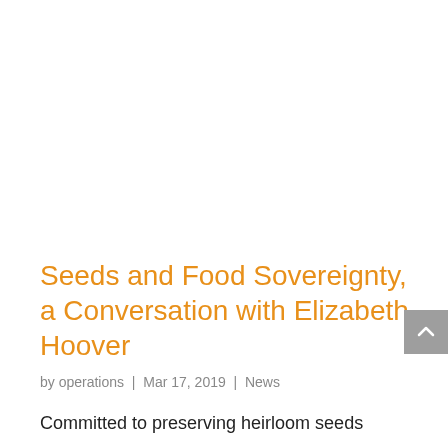Seeds and Food Sovereignty, a Conversation with Elizabeth Hoover
by operations | Mar 17, 2019 | News
Committed to preserving heirloom seeds